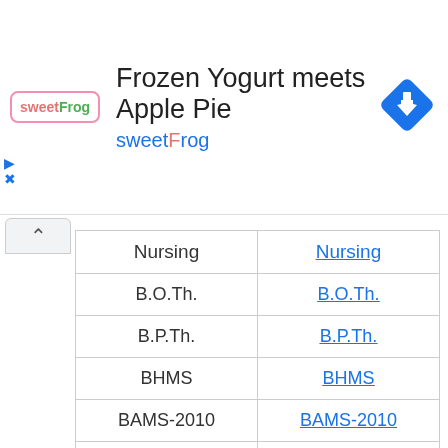[Figure (screenshot): Advertisement banner for sweetFrog frozen yogurt. Shows sweetFrog logo (pink/green text in a rounded box), title 'Frozen Yogurt meets Apple Pie', subtitle 'sweetFrog' in blue, and a blue diamond navigation icon on the right.]
| Nursing | Nursing |
| --- | --- |
| B.O.Th. | B.O.Th. |
| B.P.Th. | B.P.Th. |
| BHMS | BHMS |
| BAMS-2010 | BAMS-2010 |
| BAMS-2012 | BAMS-2012 |
| BAMS-2017 | BAMS-2017 |
| BUMS | BUMS |